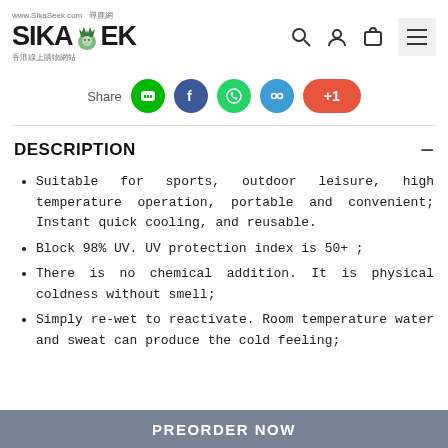SikaSeek.com — 尋鹿網 香港線上購物網站 (Logo and navigation icons)
Share
DESCRIPTION
Suitable for sports, outdoor leisure, high temperature operation, portable and convenient; Instant quick cooling, and reusable.
Block 98% UV. UV protection index is 50+ ;
There is no chemical addition. It is physical coldness without smell;
Simply re-wet to reactivate. Room temperature water and sweat can produce the cold feeling;
PREORDER NOW